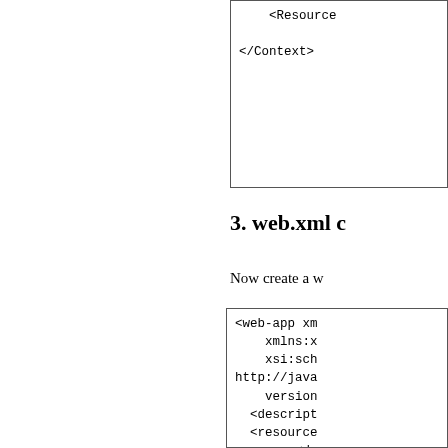[Figure (screenshot): Code box showing XML snippet ending with </Context> tag]
3. web.xml c
Now create a w
[Figure (screenshot): Code box showing web.xml XML content with web-app element, xmlns, xsi:schemaLocation, version, description, resource-ref with desc, res- elements, /resource-ref, /web-app]